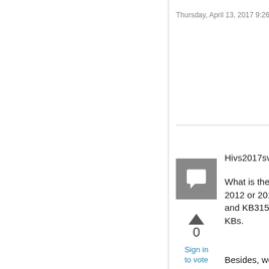Thursday, April 13, 2017 9:26 PM
[Figure (illustration): Gray square avatar icon with a speech bubble / comment icon in white]
0
Sign in
to vote
Hivs2017sv,
What is the version of the WSUS server, if it is WSUS 4.0(Server 2012 or 2012R2), then seems you haven't installed KB3095113 and KB3159706(with manual steps), if not, you may install the two KBs.
Besides, we may add "Version" in